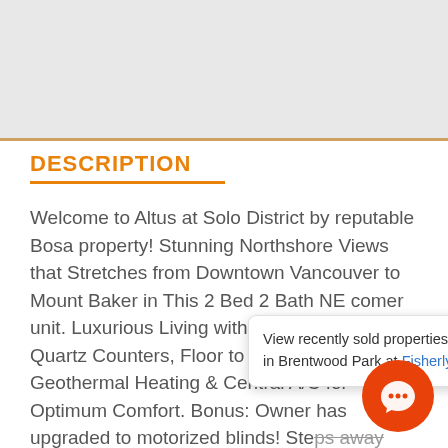[Figure (other): Gray header/image area at top of page]
DESCRIPTION
Welcome to Altus at Solo District by reputable Bosa property! Stunning Northshore Views that Stretches from Downtown Vancouver to Mount Baker in This 2 Bed 2 Bath NE corner unit. Luxurious Living with S/S Appliances, Quartz Counters, Floor to Ceiling Windows, Geothermal Heating & Central A/C for Optimum Comfort. Bonus: Owner has upgraded to motorized blinds! Steps away from Whole Foods, Shoppers Drug Mart, Skytrain, Brentwood Restaurants. Upscale Amenities includes 24 Hr Concierge, Fitness Center, Outdoor Basketball Court/Hockey Rink, 5,000 Sf Rooftop Sky Lounge Full Kitchen, BBQ, Billiards, Ping Pong, Patio & Garden. Call for private showing.
View recently sold properties in Brentwood Park at Fisherly.
[Figure (other): Orange circular chat/messenger button]